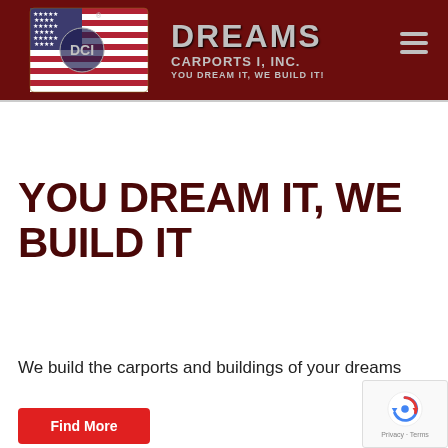[Figure (logo): Dreams Carports I, Inc. logo with American flag and company name. Tagline: YOU DREAM IT, WE BUILD IT!]
YOU DREAM IT, WE BUILD IT
We build the carports and buildings of your dreams
[Figure (other): Find More button (red background, white text)]
[Figure (other): reCAPTCHA badge with Privacy and Terms links]